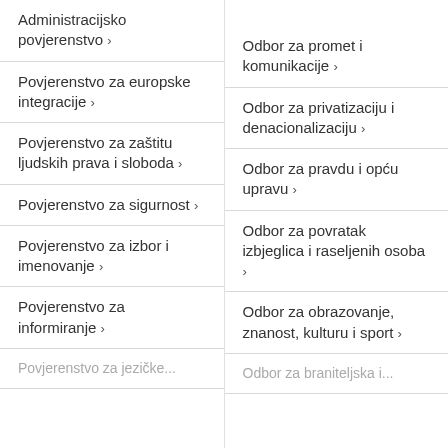Administracijsko povjerenstvo >
Povjerenstvo za europske integracije >
Povjerenstvo za zaštitu ljudskih prava i sloboda >
Povjerenstvo za sigurnost >
Povjerenstvo za izbor i imenovanje >
Povjerenstvo za informiranje >
Povjerenstvo za jezičke ...
Odbor za promet i komunikacije >
Odbor za privatizaciju i denacionalizaciju >
Odbor za pravdu i opću upravu >
Odbor za povratak izbjeglica i raseljenih osoba >
Odbor za obrazovanje, znanost, kulturu i sport >
Odbor za braniteljska i ...